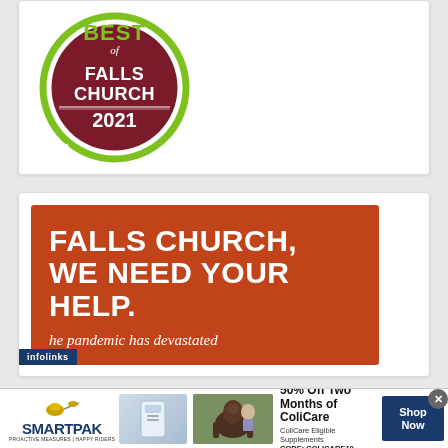[Figure (logo): Best of Falls Church 2021 circular badge with green border and red/maroon interior. Text reads BEST of FALLS CHURCH 2021 BESTOFFC.COM]
[Figure (infographic): Orange/red advertisement panel reading FALLS CHURCH, WE NEED YOUR HELP. followed by italic text 'he pandemic has devastated' (partial). infolinks label visible in lower left.]
[Figure (infographic): SmartPak advertisement banner. Shows SmartPak horse logo and brand name, product image, horse photo, text '50% Off Two Months of ColiCare, ColiCare Eligible Supplements CODE: COLICARE10', and Shop Now button. X close button in upper right.]